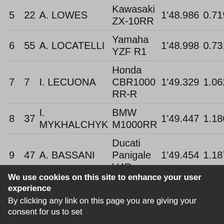| Pos | No | Rider | Bike | Time | Gap | Speed |
| --- | --- | --- | --- | --- | --- | --- |
| 5 | 22 | A. LOWES | Kawasaki ZX-10RR | 1'48.986 | 0.719 | 320 |
| 6 | 55 | A. LOCATELLI | Yamaha YZF R1 | 1'48.998 | 0.731 | 317 |
| 7 | 7 | I. LECUONA | Honda CBR1000 RR-R | 1'49.329 | 1.062 | 322 |
| 8 | 37 | I. MYKHALCHYK | BMW M1000RR | 1'49.447 | 1.180 | 323 |
| 9 | 47 | A. BASSANI | Ducati Panigale V4R | 1'49.454 | 1.187 | 316 |
| 10 | 76 | L. BAZ | BMW M1000RR | 1'49.469 | 1.202 | 315 |
| 11 | 31 | G. GERLOFF | Yamaha YZF R1 | 1'49.541 | 1.274 | 317 |
|  |  |  | Ducati |  |  |  |
We use cookies on this site to enhance your user experience
By clicking any link on this page you are giving your consent for us to set